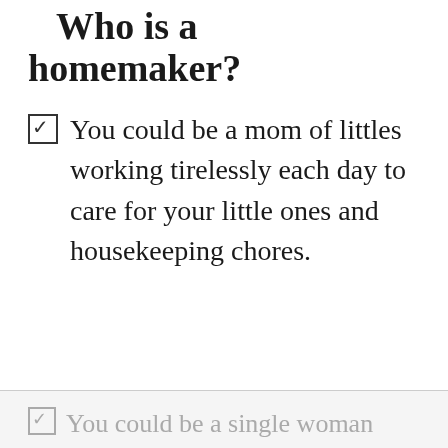Who is a homemaker?
You could be a mom of littles working tirelessly each day to care for your little ones and housekeeping chores.
You could be a single woman who works